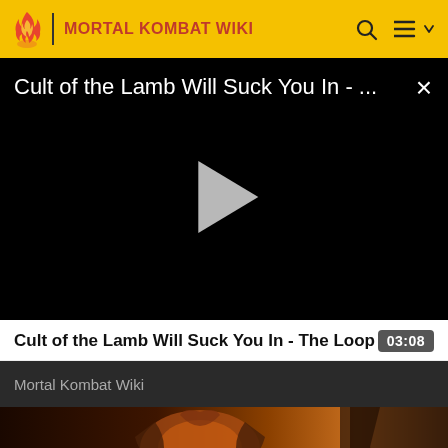MORTAL KOMBAT WIKI
[Figure (screenshot): Video player showing black screen with title 'Cult of the Lamb Will Suck You In - ...' and a play button in the center, with a close (X) button in top right corner]
Cult of the Lamb Will Suck You In - The Loop  03:08
Mortal Kombat Wiki
[Figure (photo): Partial thumbnail image showing Mortal Kombat dragon logo and dramatic lighting]